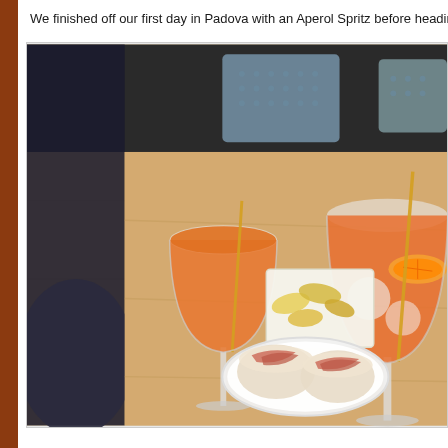We finished off our first day in Padova with an Aperol Spritz before heading b
[Figure (photo): Two Aperol Spritz cocktails in large wine glasses on a wooden table, with a white plate of prosciutto/ham sandwiches in the foreground and a small box of potato chips/crisps in the middle. Chairs visible in the background.]